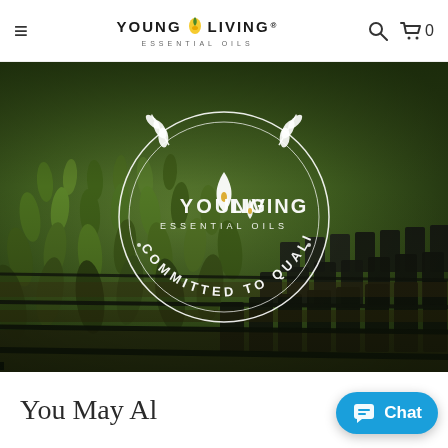[Figure (screenshot): Young Living Essential Oils website navigation bar with hamburger menu, logo, search and cart icons]
[Figure (photo): Hero image of young plant seedlings in black trays with Young Living Essential Oils 'Committed to Quality' circular badge overlay]
You May Al...
[Figure (infographic): Blue chat button with speech bubble icon and 'Chat' text]